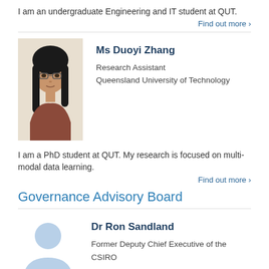I am an undergraduate Engineering and IT student at QUT.
Find out more ›
[Figure (photo): Headshot photo of Ms Duoyi Zhang, a young woman with glasses and long dark hair, wearing a rust-colored top]
Ms Duoyi Zhang
Research Assistant
Queensland University of Technology
I am a PhD student at QUT. My research is focused on multi-modal data learning.
Find out more ›
Governance Advisory Board
[Figure (illustration): Generic placeholder silhouette icon for a person (light blue)]
Dr Ron Sandland
Former Deputy Chief Executive of the CSIRO